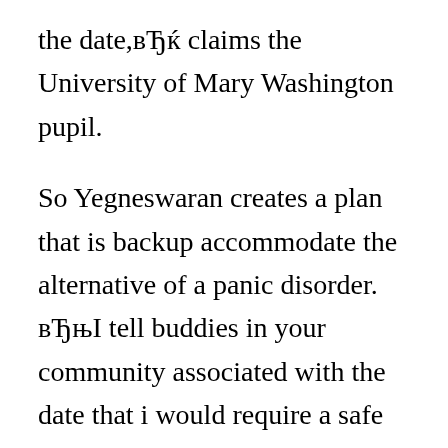the date,вЂќ claims the University of Mary Washington pupil.
So Yegneswaran creates a plan that is backup accommodate the alternative of a panic disorder. вЂњI tell buddies in your community associated with the date that i would require a safe area in the event one thing takes place and I also need certainly to crash somewhere,вЂќ she claims.
Elspeth Rawlings, 23, students in Frederick,